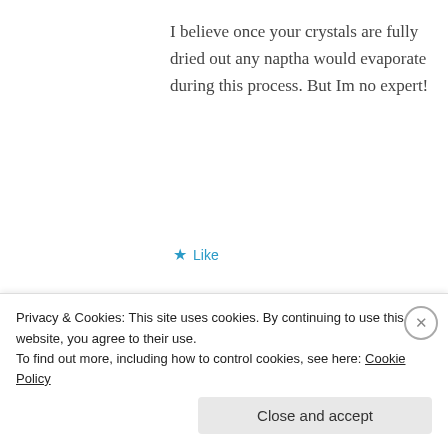I believe once your crystals are fully dried out any naptha would evaporate during this process. But Im no expert!
★ Like
[Figure (logo): Circular decorative avatar icon with dark olive green leaf/vine border and diamond/cross pattern in center]
Kevin Randolph
FEBRUARY 21, 2022 AT 12:49 AM
Privacy & Cookies: This site uses cookies. By continuing to use this website, you agree to their use.
To find out more, including how to control cookies, see here: Cookie Policy
Close and accept